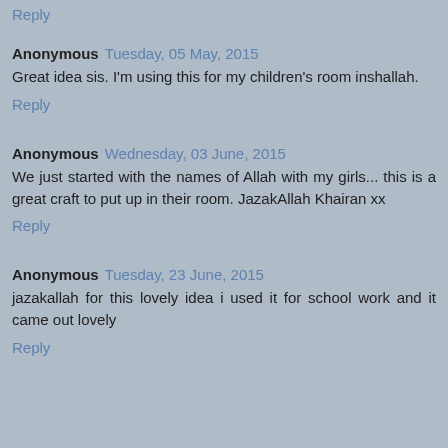Reply
Anonymous  Tuesday, 05 May, 2015
Great idea sis. I'm using this for my children's room inshallah.
Reply
Anonymous  Wednesday, 03 June, 2015
We just started with the names of Allah with my girls... this is a great craft to put up in their room. JazakAllah Khairan xx
Reply
Anonymous  Tuesday, 23 June, 2015
jazakallah for this lovely idea i used it for school work and it came out lovely
Reply